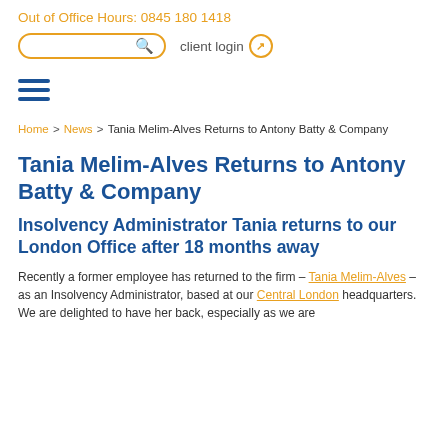Out of Office Hours: 0845 180 1418
client login
[Figure (other): Hamburger menu icon with three horizontal dark blue lines]
Home > News > Tania Melim-Alves Returns to Antony Batty & Company
Tania Melim-Alves Returns to Antony Batty & Company
Insolvency Administrator Tania returns to our London Office after 18 months away
Recently a former employee has returned to the firm – Tania Melim-Alves – as an Insolvency Administrator, based at our Central London headquarters. We are delighted to have her back, especially as we are